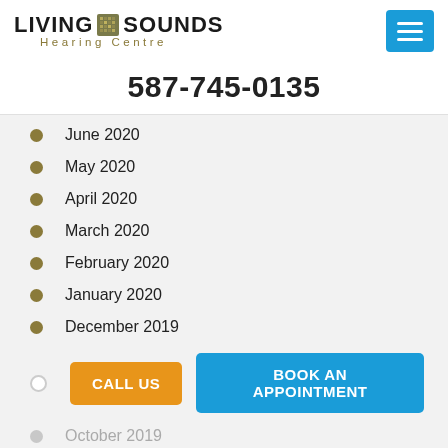[Figure (logo): Living Sounds Hearing Centre logo with green grid icon and text]
587-745-0135
June 2020
May 2020
April 2020
March 2020
February 2020
January 2020
December 2019
CALL US
BOOK AN APPOINTMENT
October 2019